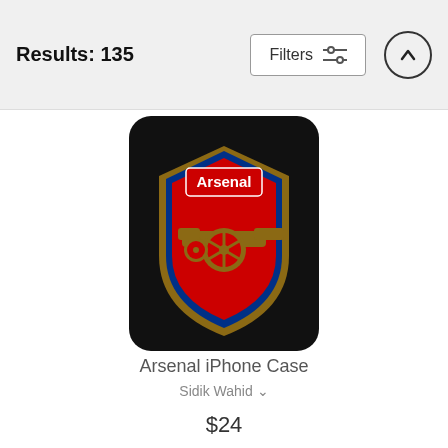Results: 135
[Figure (photo): Arsenal iPhone case product image showing a black phone case with the Arsenal FC crest (red and blue shield with gold cannon) on a white background]
Arsenal iPhone Case
Sidik Wahid
$24